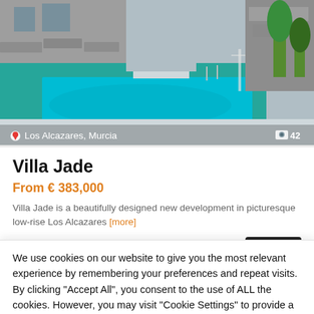[Figure (photo): Swimming pool area of Villa Jade property in Los Alcazares, Murcia. Blue pool with stone patio and green trees visible. Location label 'Los Alcazares, Murcia' and photo count '42' overlaid at bottom.]
Villa Jade
From € 383,000
Villa Jade is a beautifully designed new development in picturesque low-rise Los Alcazares [more]
3  3  details
We use cookies on our website to give you the most relevant experience by remembering your preferences and repeat visits. By clicking "Accept All", you consent to the use of ALL the cookies. However, you may visit "Cookie Settings" to provide a controlled consent.
Cookie Settings  Accept All  Message us!